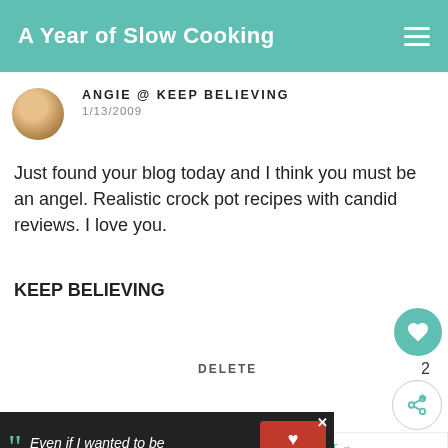A Year of Slow Cooking
ANGIE @ KEEP BELIEVING
1/13/2009
Just found your blog today and I think you must be an angel. Realistic crock pot recipes with candid reviews. I love you.
KEEP BELIEVING
DELETE
2
WHAT'S NEXT → CrockPot Cream Chee...
WENDY
1/14/2009
Even if I wanted to be adopted, who would
[Figure (screenshot): Dave Thomas Foundation for Adoption advertisement overlay at bottom of page]